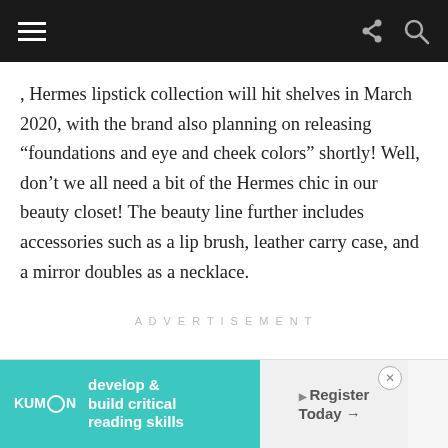Navigation bar with hamburger menu, share and search icons
, Hermes lipstick collection will hit shelves in March 2020, with the brand also planning on releasing “foundations and eye and cheek colors” shortly! Well, don’t we all need a bit of the Hermes chic in our beauty closet! The beauty line further includes accessories such as a lip brush, leather carry case, and a mirror doubles as a necklace.
ADVERTISEMENT
[Figure (other): Kumon advertisement banner: develop & build critical reading skills. Register Today arrow button.]